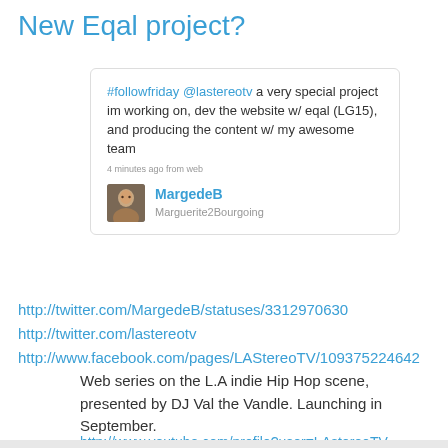New Eqal project?
[Figure (screenshot): Screenshot of a tweet by MargedeB (Marguerite2Bourgoing): '#followfriday @lastereotv a very special project im working on, dev the website w/ eqal (LG15), and producing the content w/ my awesome team' — 4 minutes ago from web]
http://twitter.com/MargedeB/statuses/3312970630
http://twitter.com/lastereotv
http://www.facebook.com/pages/LAStereoTV/109375224642
Web series on the L.A indie Hip Hop scene, presented by DJ Val the Vandle. Launching in September.
http://www.youtube.com/profile?user=LAstereoTV